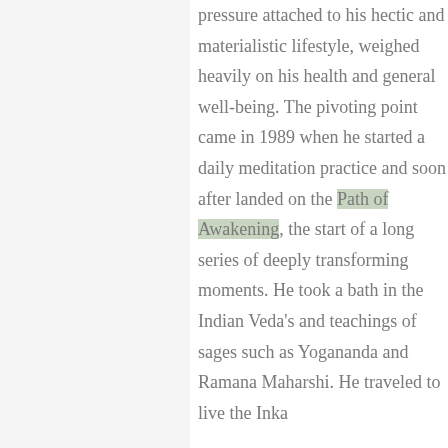pressure attached to his hectic and materialistic lifestyle, weighed heavily on his health and general well-being. The pivoting point came in 1989 when he started a daily meditation practice and soon after landed on the Path of Awakening, the start of a long series of deeply transforming moments. He took a bath in the Indian Veda's and teachings of sages such as Yogananda and Ramana Maharshi. He traveled to live the Inka